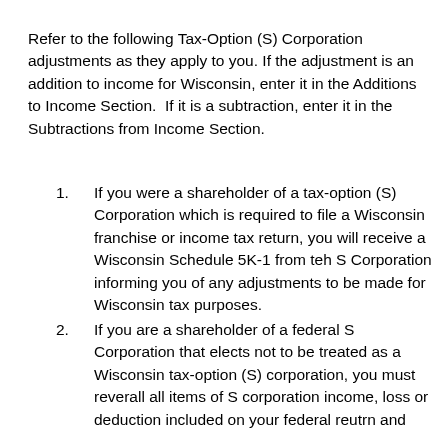Refer to the following Tax-Option (S) Corporation adjustments as they apply to you. If the adjustment is an addition to income for Wisconsin, enter it in the Additions to Income Section.  If it is a subtraction, enter it in the Subtractions from Income Section.
If you were a shareholder of a tax-option (S) Corporation which is required to file a Wisconsin franchise or income tax return, you will receive a Wisconsin Schedule 5K-1 from teh S Corporation informing you of any adjustments to be made for Wisconsin tax purposes.
If you are a shareholder of a federal S Corporation that elects not to be treated as a Wisconsin tax-option (S) corporation, you must reverall all items of S corporation income, loss or deduction included on your federal reutrn and